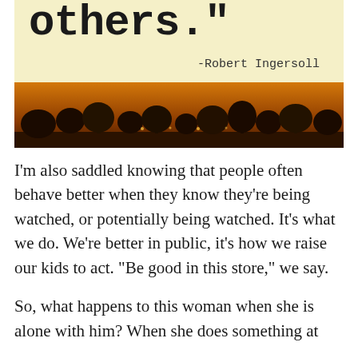[Figure (photo): A photo-style inspirational quote image. Top portion has cream/yellow background with large typewriter-font text reading 'others."' and attribution '-Robert Ingersoll'. Bottom portion shows a sunset silhouette of trees.]
I’m also saddled knowing that people often behave better when they know they’re being watched, or potentially being watched. It’s what we do. We’re better in public, it’s how we raise our kids to act. “Be good in this store,” we say.
So, what happens to this woman when she is alone with him? When she does something at